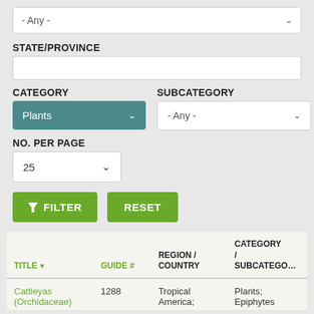[Figure (screenshot): Dropdown select box showing '- Any -' with chevron arrow]
STATE/PROVINCE
[Figure (screenshot): Empty text input field for State/Province]
CATEGORY
SUBCATEGORY
[Figure (screenshot): Dropdown showing 'Plants' in teal/green background]
[Figure (screenshot): Dropdown showing '- Any -' for subcategory]
NO. PER PAGE
[Figure (screenshot): Dropdown showing '25']
[Figure (screenshot): Green FILTER button with funnel icon and green RESET button]
| TITLE | GUIDE # | REGION / COUNTRY | CATEGORY / SUBCATEGORY |
| --- | --- | --- | --- |
| Cattleyas (Orchidaceae) | 1288 | Tropical America; | Plants; Epiphytes |